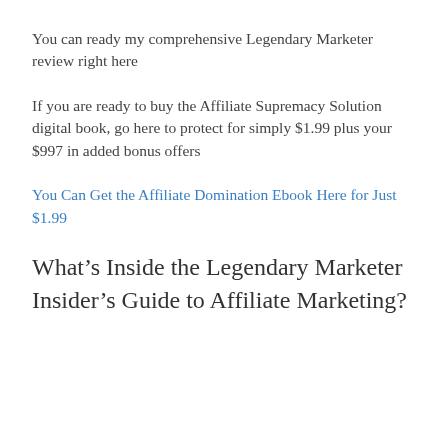You can ready my comprehensive Legendary Marketer review right here
If you are ready to buy the Affiliate Supremacy Solution digital book, go here to protect for simply $1.99 plus your $997 in added bonus offers
You Can Get the Affiliate Domination Ebook Here for Just $1.99
What’s Inside the Legendary Marketer Insider’s Guide to Affiliate Marketing?